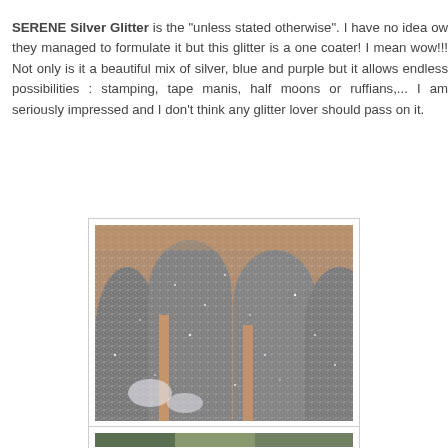SERENE Silver Glitter is the "unless stated otherwise". I have no idea ow they managed to formulate it but this glitter is a one coater! I mean wow!!! Not only is it a beautiful mix of silver, blue and purple but it allows endless possibilities : stamping, tape manis, half moons or ruffians,... I am seriously impressed and I don't think any glitter lover should pass on it.
[Figure (photo): Close-up photo of fingernails painted with silver glitter nail polish (SERENE Silver Glitter), showing a mix of silver, blue, and purple glitter particles covering the nails]
[Figure (photo): Partially visible second photo at the bottom of the page, cropped]